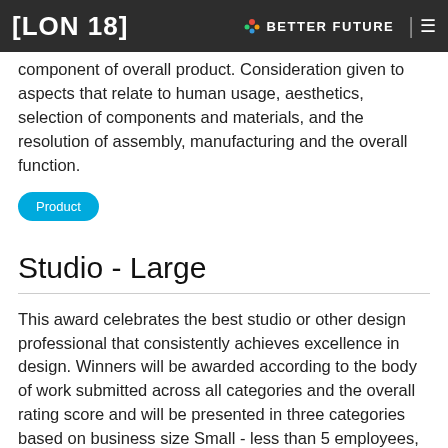[LON 18]   BETTER FUTURE
component of overall product. Consideration given to aspects that relate to human usage, aesthetics, selection of components and materials, and the resolution of assembly, manufacturing and the overall function.
Product
Studio - Large
This award celebrates the best studio or other design professional that consistently achieves excellence in design. Winners will be awarded according to the body of work submitted across all categories and the overall rating score and will be presented in three categories based on business size Small - less than 5 employees, Medium - 5-20 employees and Large - greater than 20 employees. All eligible nominations will